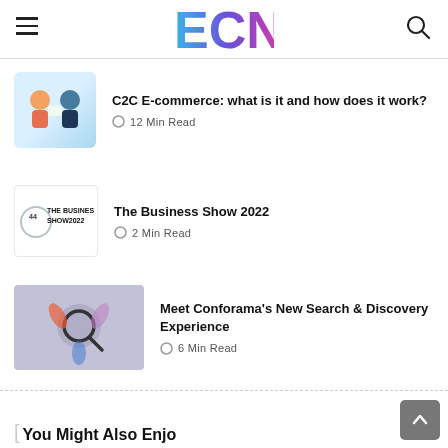ECN
C2C E-commerce: what is it and how does it work? — 12 Min Read
The Business Show 2022 — 2 Min Read
Meet Conforama's New Search & Discovery Experience — 6 Min Read
You Might Also Enjoy